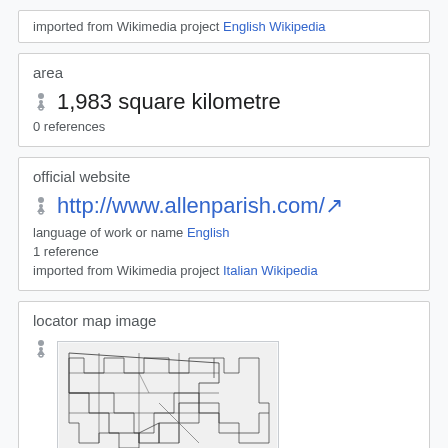imported from Wikimedia project English Wikipedia
area
1,983 square kilometre
0 references
official website
http://www.allenparish.com/
language of work or name English
1 reference
imported from Wikimedia project Italian Wikipedia
locator map image
[Figure (map): Locator map showing Allen Parish location within Louisiana/US states outline map]